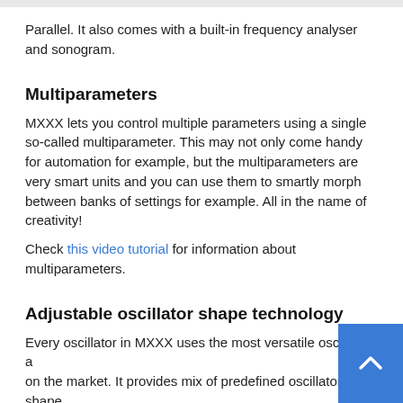Parallel. It also comes with a built-in frequency analyser and sonogram.
Multiparameters
MXXX lets you control multiple parameters using a single so-called multiparameter. This may not only come handy for automation for example, but the multiparameters are very smart units and you can use them to smartly morph between banks of settings for example. All in the name of creativity!
Check this video tutorial for information about multiparameters.
Adjustable oscillator shape technology
Every oscillator in MXXX uses the most versatile oscillator a on the market. It provides mix of predefined oscillator shape custom waveforms edited using our MeldaProduction Enve System (MES), a step-sequencer and several methods for